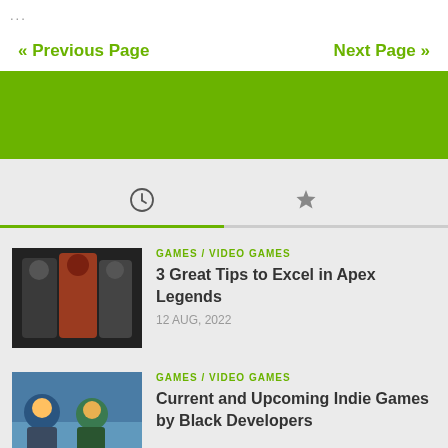...
« Previous Page   Next Page »
[Figure (other): Green banner/advertisement block]
[Figure (other): Tab bar with clock icon (active) and star icon, with green active underline]
[Figure (photo): Thumbnail image of three Apex Legends characters]
GAMES / VIDEO GAMES
3 Great Tips to Excel in Apex Legends
12 AUG, 2022
[Figure (photo): Thumbnail image of indie game characters in winter setting]
GAMES / VIDEO GAMES
Current and Upcoming Indie Games by Black Developers